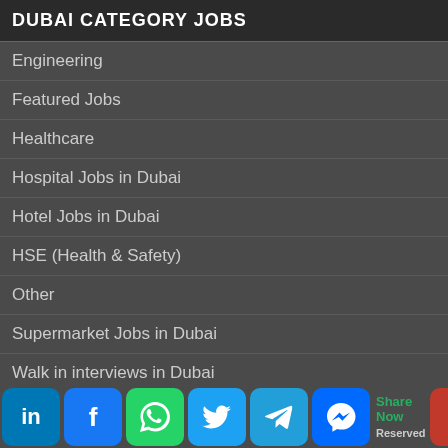DUBAI CATEGORY JOBS
Engineering
Featured Jobs
Healthcare
Hospital Jobs in Dubai
Hotel Jobs in Dubai
HSE (Health & Safety)
Other
Supermarket Jobs in Dubai
Walk in interviews in Dubai
Dubaicareer.ae
© 2021 All Rights Reserved
Share Now